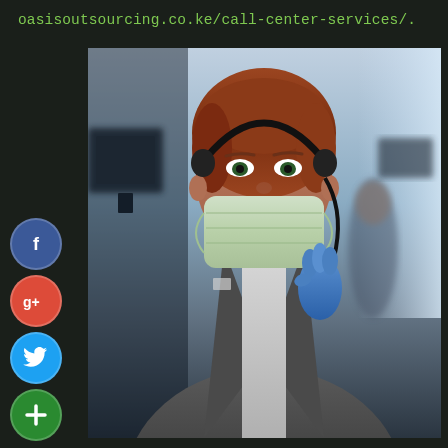oasisoutsourcing.co.ke/call-center-services/.
[Figure (photo): A call center worker wearing a face mask and blue gloves, adjusting a headset microphone, photographed in an office setting with blurred background showing monitors and other workers.]
[Figure (infographic): Social media sharing buttons on the left side: Facebook (blue circle with 'f'), Google+ (red circle with 'g+'), Twitter (blue circle with bird icon), and a green plus/share button.]